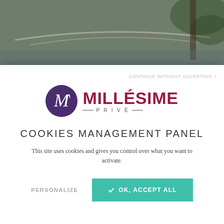[Figure (photo): Background photo showing outdoor scene with water and trees, partially visible behind modal overlay]
CONTINUE WITHOUT ACCEPTING +
[Figure (logo): Millésime Privé logo — purple circle with stylized M on left, red bold MILLÉSIME text with PRIVÉ subtitle on right]
COOKIES MANAGEMENT PANEL
This site uses cookies and gives you control over what you want to activate.
PERSONALIZE
✓  OK, ACCEPT ALL